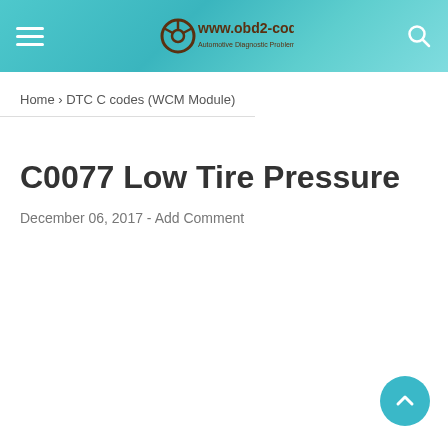www.obd2-code.com
Home › DTC C codes (WCM Module)
C0077 Low Tire Pressure
December 06, 2017  -  Add Comment